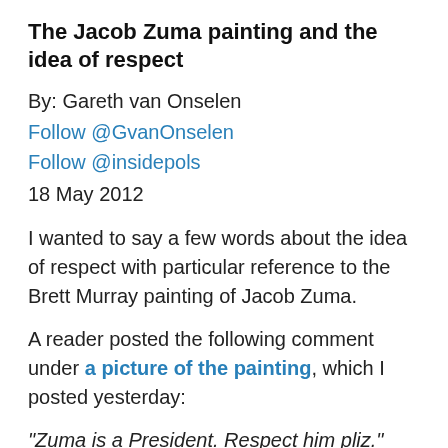The Jacob Zuma painting and the idea of respect
By: Gareth van Onselen
Follow @GvanOnselen
Follow @insidepols
18 May 2012
I wanted to say a few words about the idea of respect with particular reference to the Brett Murray painting of Jacob Zuma.
A reader posted the following comment under a picture of the painting, which I posted yesterday:
“Zuma is a President. Respect him pliz.”
He is not alone in this regard. The Presidency too has evoked the idea. @StephenGrootes today tweeted the following from a Presidency press briefing...